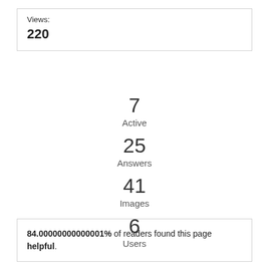Views:
220
7
Active
25
Answers
41
Images
6
Users
84.00000000000001% of readers found this page helpful.